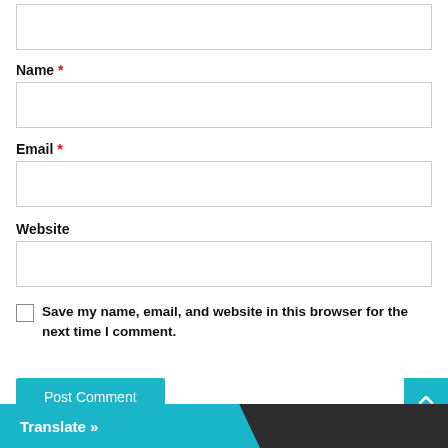[Figure (screenshot): Top portion of a comment form showing a partially visible textarea input box]
Name *
[Figure (screenshot): Name input field text box]
Email *
[Figure (screenshot): Email input field text box]
Website
[Figure (screenshot): Website input field text box]
Save my name, email, and website in this browser for the next time I comment.
Post Comment
Translate »